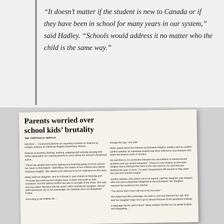“It doesn’t matter if the student is new to Canada or if they have been in school for many years in our system,” said Hadley. “Schools would address it no matter who the child is the same way.”
[Figure (photo): A photograph of a newspaper clipping from The Chronicle Herald with the headline 'Parents worried over school kids' brutality'. The article discusses Concerned parents reporting incidents of violence or refugee violence at Clements Heights Elementary School, including students choking, pushing, slapping and verbally abusing fellow classmates.]